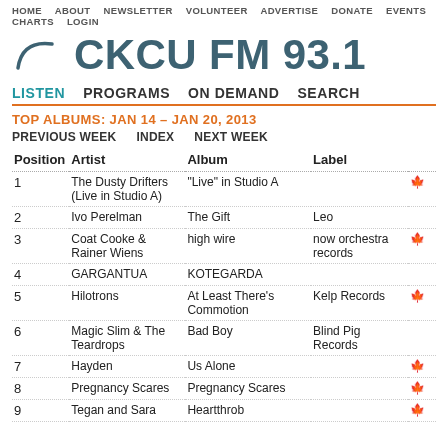HOME  ABOUT  NEWSLETTER  VOLUNTEER  ADVERTISE  DONATE  EVENTS  CHARTS  LOGIN
CKCU FM 93.1
LISTEN  PROGRAMS  ON DEMAND  SEARCH
TOP ALBUMS: JAN 14 – JAN 20, 2013
PREVIOUS WEEK    INDEX    NEXT WEEK
| Position | Artist | Album | Label |  |
| --- | --- | --- | --- | --- |
| 1 | The Dusty Drifters (Live in Studio A) | "Live" in Studio A |  | 🍁 |
| 2 | Ivo Perelman | The Gift | Leo |  |
| 3 | Coat Cooke & Rainer Wiens | high wire | now orchestra records | 🍁 |
| 4 | GARGANTUA | KOTEGARDA |  |  |
| 5 | Hilotrons | At Least There's Commotion | Kelp Records | 🍁 |
| 6 | Magic Slim & The Teardrops | Bad Boy | Blind Pig Records |  |
| 7 | Hayden | Us Alone |  | 🍁 |
| 8 | Pregnancy Scares | Pregnancy Scares |  | 🍁 |
| 9 | Tegan and Sara | Heartthrob |  | 🍁 |